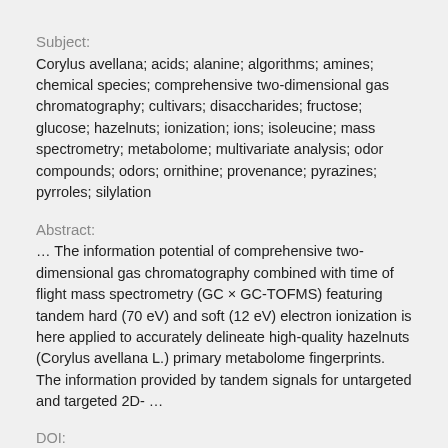Subject:
Corylus avellana; acids; alanine; algorithms; amines; chemical species; comprehensive two-dimensional gas chromatography; cultivars; disaccharides; fructose; glucose; hazelnuts; ionization; ions; isoleucine; mass spectrometry; metabolome; multivariate analysis; odor compounds; odors; ornithine; provenance; pyrazines; pyrroles; silylation
Abstract:
… The information potential of comprehensive two-dimensional gas chromatography combined with time of flight mass spectrometry (GC × GC-TOFMS) featuring tandem hard (70 eV) and soft (12 eV) electron ionization is here applied to accurately delineate high-quality hazelnuts (Corylus avellana L.) primary metabolome fingerprints. The information provided by tandem signals for untargeted and targeted 2D- …
DOI:
10.1016/j.chroma.2019.460739